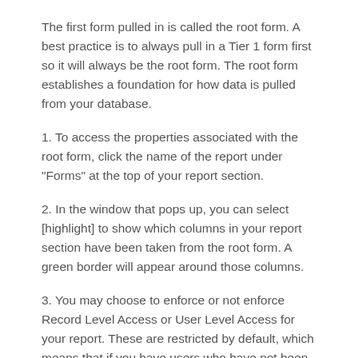The first form pulled in is called the root form. A best practice is to always pull in a Tier 1 form first so it will always be the root form. The root form establishes a foundation for how data is pulled from your database.
1. To access the properties associated with the root form, click the name of the report under "Forms" at the top of your report section.
2. In the window that pops up, you can select [highlight] to show which columns in your report section have been taken from the root form. A green border will appear around those columns.
3. You may choose to enforce or not enforce Record Level Access or User Level Access for your report. These are restricted by default, which means that if you have users who have not been given access to certain forms or certain kinds of data in your database, they will